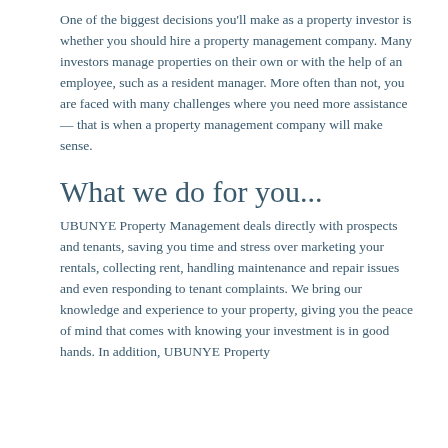One of the biggest decisions you'll make as a property investor is whether you should hire a property management company. Many investors manage properties on their own or with the help of an employee, such as a resident manager. More often than not, you are faced with many challenges where you need more assistance — that is when a property management company will make sense.
What we do for you...
UBUNYE Property Management deals directly with prospects and tenants, saving you time and stress over marketing your rentals, collecting rent, handling maintenance and repair issues and even responding to tenant complaints. We bring our knowledge and experience to your property, giving you the peace of mind that comes with knowing your investment is in good hands. In addition, UBUNYE Property